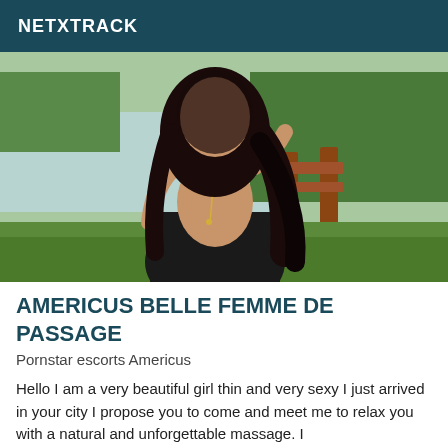NETXTRACK
[Figure (photo): Woman with long dark hair wearing a black bikini top and dark skirt, seated outdoors near a wooden fence with greenery and water in the background.]
AMERICUS BELLE FEMME DE PASSAGE
Pornstar escorts Americus
Hello I am a very beautiful girl thin and very sexy I just arrived in your city I propose you to come and meet me to relax you with a natural and unforgettable massage. I